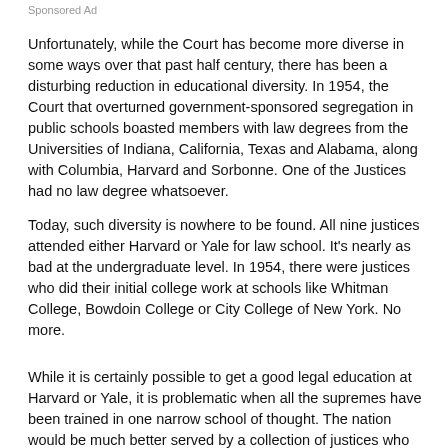Sponsored Ad
Unfortunately, while the Court has become more diverse in some ways over that past half century, there has been a disturbing reduction in educational diversity. In 1954, the Court that overturned government-sponsored segregation in public schools boasted members with law degrees from the Universities of Indiana, California, Texas and Alabama, along with Columbia, Harvard and Sorbonne. One of the Justices had no law degree whatsoever.
Today, such diversity is nowhere to be found. All nine justices attended either Harvard or Yale for law school. It's nearly as bad at the undergraduate level. In 1954, there were justices who did their initial college work at schools like Whitman College, Bowdoin College or City College of New York. No more.
While it is certainly possible to get a good legal education at Harvard or Yale, it is problematic when all the supremes have been trained in one narrow school of thought. The nation would be much better served by a collection of justices who came from different schools in different parts of the country. To take just one example, someone attending law school in the